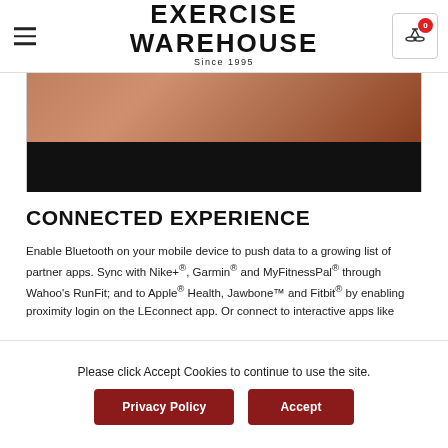EXERCISE WAREHOUSE Since 1995
[Figure (photo): Partial photo of a person wearing a pink/orange top, with a dark/black band at the bottom of the image]
CONNECTED EXPERIENCE
Enable Bluetooth on your mobile device to push data to a growing list of partner apps. Sync with Nike+®, Garmin® and MyFitnessPal® through Wahoo's RunFit; and to Apple® Health, Jawbone™ and Fitbit® by enabling proximity login on the LEconnect app. Or connect to interactive apps like
Please click Accept Cookies to continue to use the site.
Privacy Policy
Accept